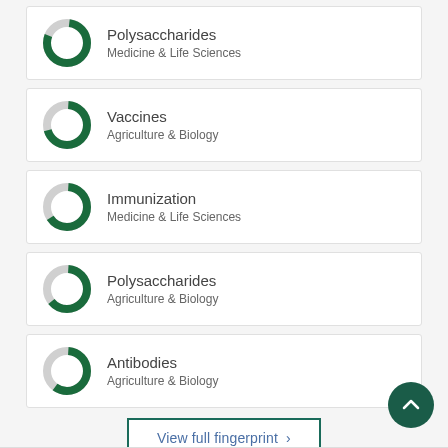Polysaccharides — Medicine & Life Sciences
Vaccines — Agriculture & Biology
Immunization — Medicine & Life Sciences
Polysaccharides — Agriculture & Biology
Antibodies — Agriculture & Biology
View full fingerprint >